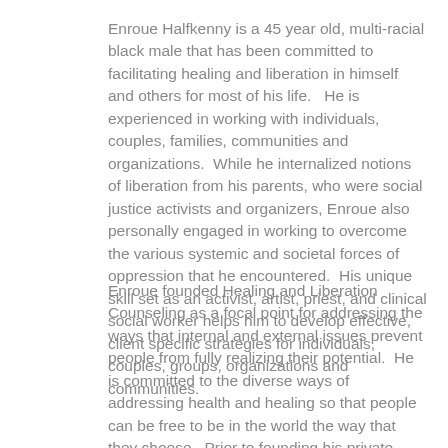Enroue Halfkenny is a 45 year old, multi-racial black male that has been committed to facilitating healing and liberation in himself and others for most of his life.   He is experienced in working with individuals, couples, families, communities and organizations.  While he internalized notions of liberation from his parents, who were social justice activists and organizers, Enroue also personally engaged in working to overcome the various systemic and societal forces of oppression that he encountered.  His unique skill set as an activist, artist, priest, and clinical social worker helps him to develop effective, client specific strategies for individuals, couples, groups, organizations and communities.
Enroue founded Healing and Liberation Counseling as a focal point for addressing the ways that internal and external issues prevent people from fully realizing their potential.  He is committed to the diverse ways of addressing health and healing so that people can be free to be in the world the way that they choose.  Prior to founding his private practice, he worked at Clifford Beers Clinic, a community mental health clinic in New Haven CT.   While there he provided individual, couples, family and group therapy for children and their families suffering from